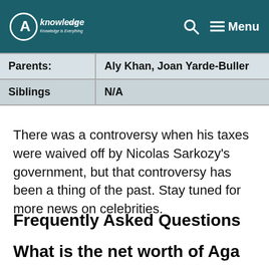AKnowledge.com — Menu
| Parents: | Aly Khan, Joan Yarde-Buller |
| Siblings | N/A |
There was a controversy when his taxes were waived off by Nicolas Sarkozy's government, but that controversy has been a thing of the past. Stay tuned for more news on celebrities.
Frequently Asked Questions
What is the net worth of Aga